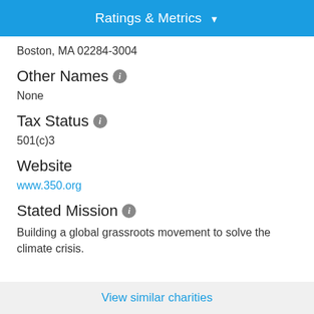Ratings & Metrics
Boston, MA 02284-3004
Other Names
None
Tax Status
501(c)3
Website
www.350.org
Stated Mission
Building a global grassroots movement to solve the climate crisis.
View similar charities